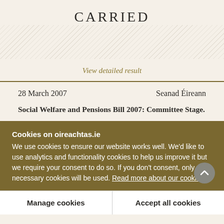CARRIED
View detailed result
28 March 2007        Seanad Éireann
Social Welfare and Pensions Bill 2007: Committee Stage.
Cookies on oireachtas.ie
We use cookies to ensure our website works well. We'd like to use analytics and functionality cookies to help us improve it but we require your consent to do so. If you don't consent, only necessary cookies will be used. Read more about our cookies
Manage cookies
Accept all cookies